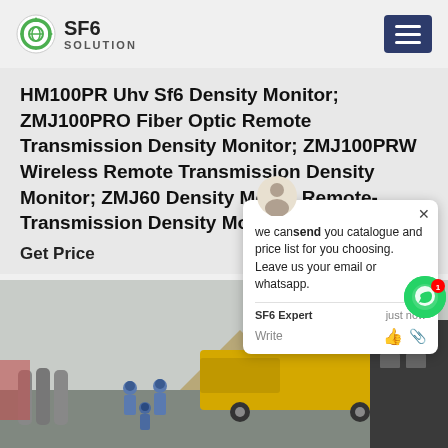SF6 SOLUTION
HM100PR Uhv Sf6 Density Monitor; ZMJ100PRO Fiber Optic Remote Transmission Density Monitor; ZMJ100PRW Wireless Remote Transmission Density Monitor; ZMJ60 Density Mo... R Remote-Transmission Density Moni...
Get Price
[Figure (photo): Industrial site photo showing workers in blue safety gear and helmets next to gas cylinders, a yellow utility truck/van, and large yellow equipment/generator. Scene appears to be an outdoor SF6 gas handling or electrical substation operation.]
[Figure (screenshot): Chat popup overlay with avatar icon, message: 'we can send you catalogue and price list for you choosing. Leave us your email or whatsapp.' SF6 Expert label with 'just now' timestamp, Write field with thumbs up and attachment icons. Close button (x) at top right.]